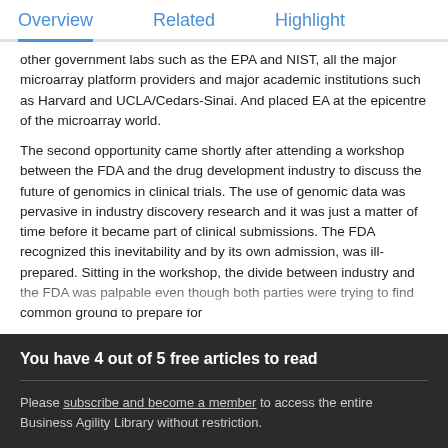Overview   Related   Highlight
other government labs such as the EPA and NIST, all the major microarray platform providers and major academic institutions such as Harvard and UCLA/Cedars-Sinai. And placed EA at the epicentre of the microarray world.
The second opportunity came shortly after attending a workshop between the FDA and the drug development industry to discuss the future of genomics in clinical trials. The use of genomic data was pervasive in industry discovery research and it was just a matter of time before it became part of clinical submissions. The FDA recognized this inevitability and by its own admission, was ill-prepared. Sitting in the workshop, the divide between industry and the FDA was palpable even though both parties were trying to find common ground to prepare for
You have 4 out of 5 free articles to read
Please subscribe and become a member to access the entire Business Agility Library without restriction.